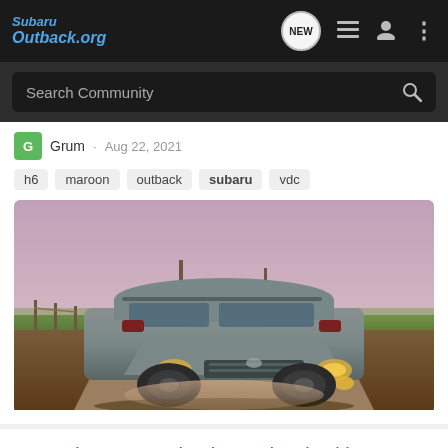SubaruOutback.org
Search Community
Grum · Aug 22, 2021
h6
maroon
outback
subaru
vdc
[Figure (photo): A silver Subaru Outback wagon parked on a gravel road in a rural landscape at dusk, viewed from the front-left angle.]
Upgrade 2016 Outback Head Unit with 2018 Possible?